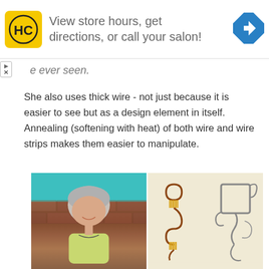[Figure (other): Advertisement banner: HC logo (yellow square with HC letters), text 'View store hours, get directions, or call your salon!', blue navigation arrow diamond icon on right]
e ever seen.
She also uses thick wire - not just because it is easier to see but as a design element in itself. Annealing (softening with heat) of both wire and wire strips makes them easier to manipulate.
[Figure (photo): Left: headshot of middle-aged woman with short gray hair, smiling, in front of brick wall with teal background. Right: close-up of wire jewelry pieces - copper/gold wire twisted earrings and silver wire geometric earrings on cream background.]